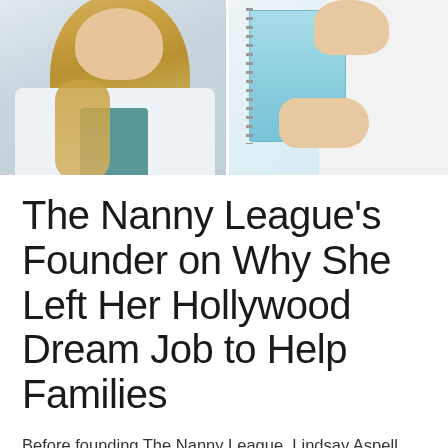[Figure (photo): Split photo: left side shows a woman with long blonde highlighted hair wearing a white shirt and teal top; right side shows hands holding a light blue spiral notebook]
The Nanny League's Founder on Why She Left Her Hollywood Dream Job to Help Families
Before founding The Nanny League, Lindsay Aspell Thomason had the dream job coveted by